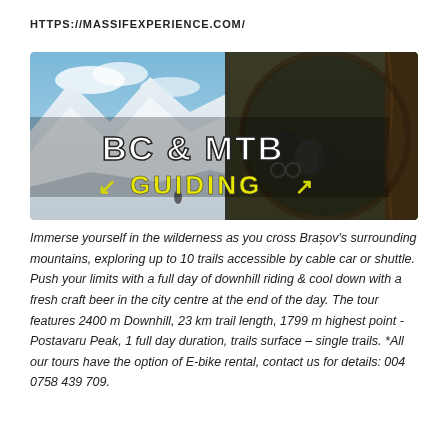HTTPS://MASSIFEXPERIENCE.COM/
[Figure (photo): Banner image for BC & MTB Guiding showing snowy mountain landscape on the left and mountain bikers in a forest on the right, with text 'BC & MTB GUIDING' overlaid in white and yellow.]
Immerse yourself in the wilderness as you cross Brașov's surrounding mountains, exploring up to 10 trails accessible by cable car or shuttle. Push your limits with a full day of downhill riding & cool down with a fresh craft beer in the city centre at the end of the day. The tour features 2400 m Downhill, 23 km trail length, 1799 m highest point -Postavaru Peak, 1 full day duration, trails surface – single trails. *All our tours have the option of E-bike rental, contact us for details: 004 0758 439 709.